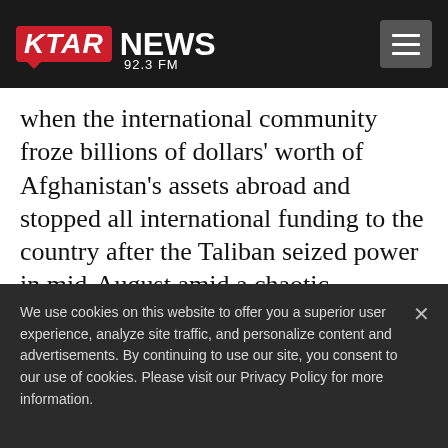KTAR NEWS 92.3 FM
when the international community froze billions of dollars' worth of Afghanistan's assets abroad and stopped all international funding to the country after the Taliban seized power in mid-August amid a chaotic
We use cookies on this website to offer you a superior user experience, analyze site traffic, and personalize content and advertisements. By continuing to use our site, you consent to our use of cookies. Please visit our Privacy Policy for more information.
Accept Cookies